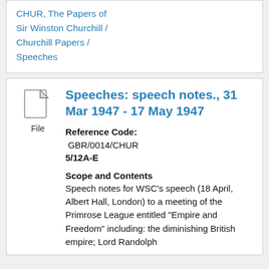CHUR, The Papers of Sir Winston Churchill / Churchill Papers / Speeches
Speeches: speech notes., 31 Mar 1947 - 17 May 1947
Reference Code: GBR/0014/CHUR 5/12A-E
Scope and Contents
Speech notes for WSC's speech (18 April, Albert Hall, London) to a meeting of the Primrose League entitled "Empire and Freedom" including: the diminishing British empire; Lord Randolph